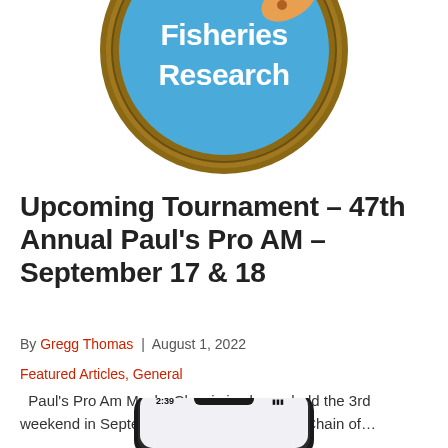[Figure (logo): Circular blue badge/logo with text 'Fisheries Research' and a fish illustration, with decorative rope border]
Upcoming Tournament – 47th Annual Paul's Pro AM – September 17 & 18
By Gregg Thomas | August 1, 2022
Featured Articles, General
Paul's Pro Am Musky Classic is always held the 3rd weekend in September on the Eagle River Chain of…
[Figure (photo): Bottom portion of a smartphone showing the time 2:39]